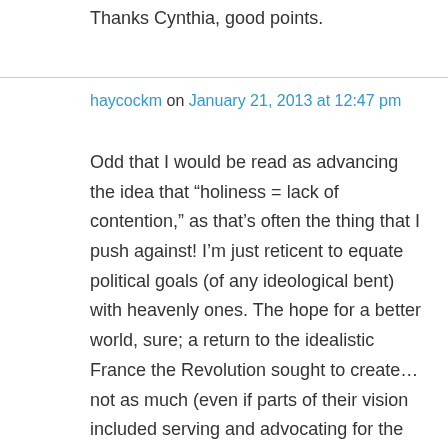Thanks Cynthia, good points.
haycockm on January 21, 2013 at 12:47 pm
Odd that I would be read as advancing the idea that “holiness = lack of contention,” as that’s often the thing that I push against! I’m just reticent to equate political goals (of any ideological bent) with heavenly ones. The hope for a better world, sure; a return to the idealistic France the Revolution sought to create… not as much (even if parts of their vision included serving and advocating for the poor, with which parts I obviously have no qualms). The heaven of the finale only appeared different from the hell of the rest of the movie in degree: bigger